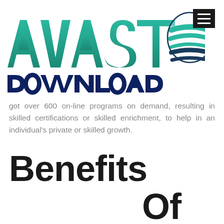[Figure (logo): AVAST DOWNLOAD logo with teal and navy stylized text and globe icon]
got over 600 on-line programs on demand, resulting in skilled certifications or skilled enrichment, to help in an individual's private or skilled growth.
Benefits Of Furthering Your Education And Expertise